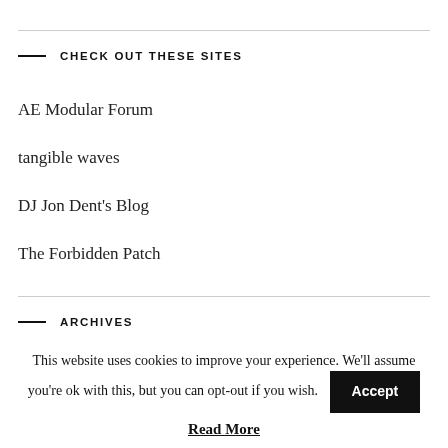CHECK OUT THESE SITES
AE Modular Forum
tangible waves
DJ Jon Dent's Blog
The Forbidden Patch
ARCHIVES
This website uses cookies to improve your experience. We'll assume you're ok with this, but you can opt-out if you wish.
Accept
Read More